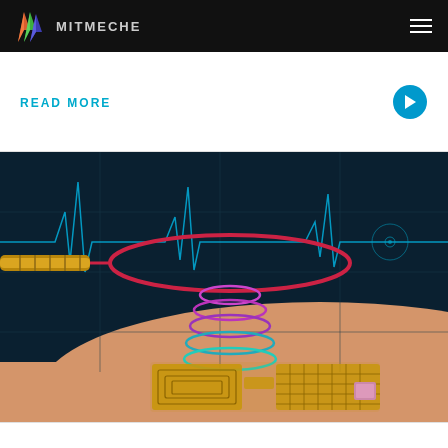MITMECHE
READ MORE
[Figure (illustration): Scientific illustration showing a wireless medical skin patch device receiving power/data via electromagnetic coils from an external antenna. A red loop antenna connects via a gold cable on the left. Purple and teal coils transmit signals down to a gold flexible electronic patch on skin surface. Background shows a teal/blue EKG heartbeat waveform on dark background.]